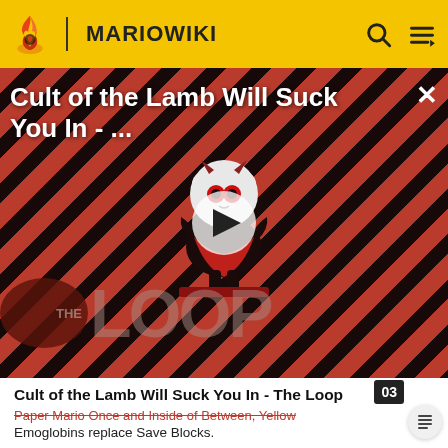MARIOWIKI
[Figure (screenshot): Video thumbnail for 'Cult of the Lamb Will Suck You In - The Loop' showing a cartoon lamb character on a red striped background with THE LOOP logo and a play button overlay.]
Cult of the Lamb Will Suck You In - ...
Cult of the Lamb Will Suck You In - The Loop
Paper Mario Once and Inside of Between, Yellow
Emoglobins replace Save Blocks.
Paper Mario: Sticker Star